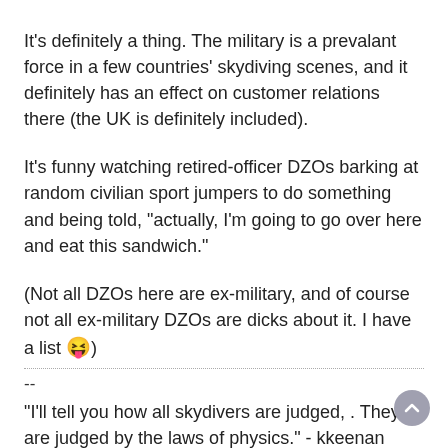It's definitely a thing. The military is a prevalant force in a few countries' skydiving scenes, and it definitely has an effect on customer relations there (the UK is definitely included).
It's funny watching retired-officer DZOs barking at random civilian sport jumpers to do something and being told, "actually, I'm going to go over here and eat this sandwich."
(Not all DZOs here are ex-military, and of course not all ex-military DZOs are dicks about it. I have a list 😝)
--
"I'll tell you how all skydivers are judged, . They are judged by the laws of physics." - kkeenan